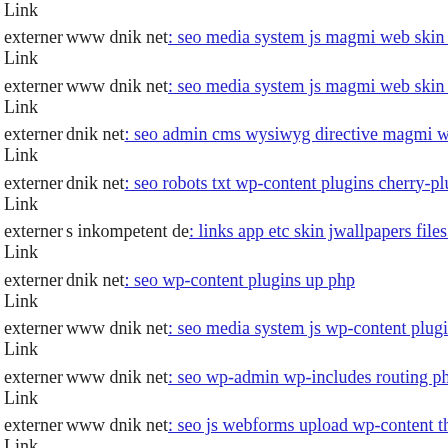externer Link  www dnik net: seo media system js magmi web skin compo
externer Link  www dnik net: seo media system js magmi web skin media
externer Link  dnik net: seo admin cms wysiwyg directive magmi web dni
externer Link  dnik net: seo robots txt wp-content plugins cherry-plugin
externer Link  s inkompetent de: links app etc skin jwallpapers files pluplo
externer Link  dnik net: seo wp-content plugins up php
externer Link  www dnik net: seo media system js wp-content plugins w3-
externer Link  www dnik net: seo wp-admin wp-includes routing php
externer Link  www dnik net: seo js webforms upload wp-content themes
externer Link  dnik net: seo media system js skin tmp dnik net
externer Link  dnik net: seo author admin s inkompetent de